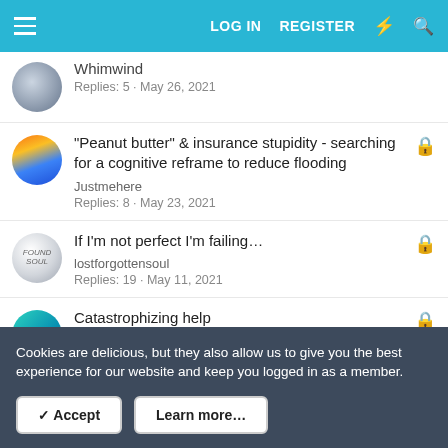LOG IN  REGISTER
Whimwind
Replies: 5 · May 26, 2021
"Peanut butter" & insurance stupidity - searching for a cognitive reframe to reduce flooding
Justmehere
Replies: 8 · May 23, 2021
If I'm not perfect I'm failing…
lostforgottensoul
Replies: 19 · May 11, 2021
Catastrophizing help
Cookies are delicious, but they also allow us to give you the best experience for our website and keep you logged in as a member.